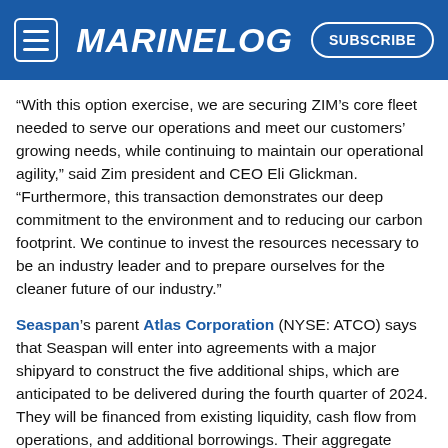MARINELOG | SUBSCRIBE
“With this option exercise, we are securing ZIM’s core fleet needed to serve our operations and meet our customers’ growing needs, while continuing to maintain our operational agility,” said Zim president and CEO Eli Glickman. “Furthermore, this transaction demonstrates our deep commitment to the environment and to reducing our carbon footprint. We continue to invest the resources necessary to be an industry leader and to prepare ourselves for the cleaner future of our industry.”
Seaspan’s parent Atlas Corporation (NYSE: ATCO) says that Seaspan will enter into agreements with a major shipyard to construct the five additional ships, which are anticipated to be delivered during the fourth quarter of 2024. They will be financed from existing liquidity, cash flow from operations, and additional borrowings. Their aggregate purchase price will be approximately $530 million, with their 12-year minimum charters totaling approximately $900 million of gross contracted cash flow
Bing Chen, chairman, president and CEO of Seaspan, commented